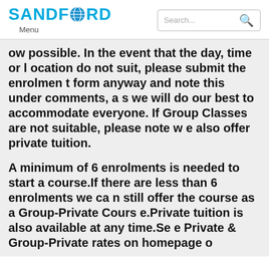SANDFORD Menu
ow possible. In the event that the day, time or location do not suit, please submit the enrolment form anyway and note this under comments, as we will do our best to accommodate everyone. If Group Classes are not suitable, please note we also offer private tuition.
A minimum of 6 enrolments is needed to start a course.If there are less than 6 enrolments we can still offer the course as a Group-Private Course.Private tuition is also available at any time.See Private & Group-Private rates on homepage o